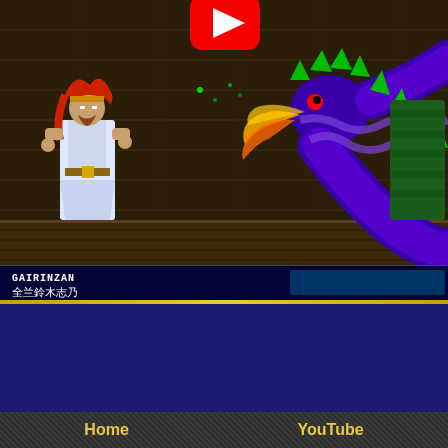[Figure (screenshot): Video game screenshot showing a fighting game scene. On the left is a character with red hair wearing white/blue robes (a warrior). On the right side is a large snake or dragon creature in purple/blue with green spines. The background shows a dark industrial stage. At the bottom is a HUD showing 'GAIRINZAN' in English and Japanese kanji characters '全兰鈴木志乃'. A red and white YouTube play button icon is partially visible at the top center.]
[Figure (screenshot): Navigation bar section on dark textured gray background showing 'Home' and 'YouTube' navigation links in bold yellow/gold text. Below is a Google custom search box with 'ENHANCED BY Google' text. A copyright notice appears at bottom right.]
Home
YouTube
ENHANCED BY Google
Copyright ©